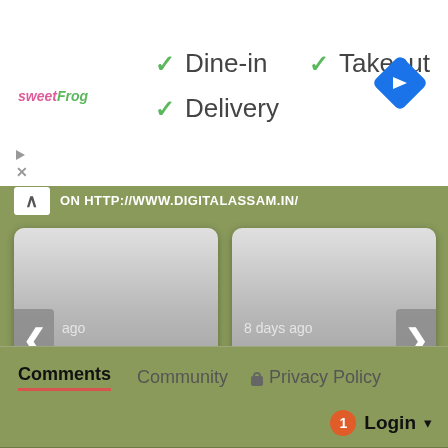[Figure (screenshot): Ad banner with sweetFrog logo, checkmarks for Dine-in, Takeout, Delivery, and a blue navigation diamond icon]
ON HTTP://WWW.DIGITALASSAM.IN/
[Figure (screenshot): Content card: ago | Delhi Police Recruitment 2018 In ...]
[Figure (screenshot): Content card: 8 days ago | Indian Coast Guard Admit Card 2018 ...]
Comments
Community
Privacy Policy
1 Login